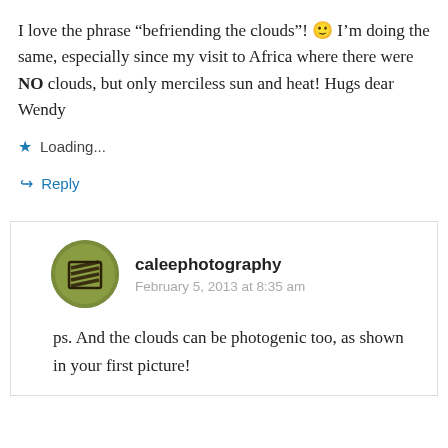I love the phrase “befriending the clouds”! 🙂 I’m doing the same, especially since my visit to Africa where there were NO clouds, but only merciless sun and heat! Hugs dear Wendy
Loading...
Reply
caleephotography
February 5, 2013 at 8:35 am
ps. And the clouds can be photogenic too, as shown in your first picture!